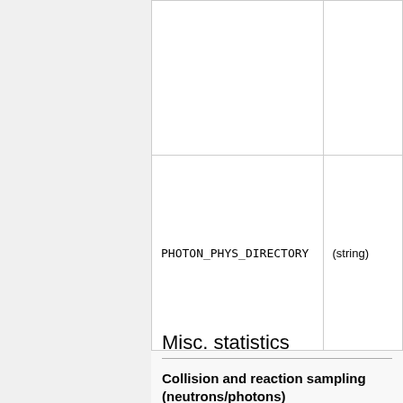| Parameter | Type | Description |
| --- | --- | --- |
|  |  |  |
| PHOTON_PHYS_DIRECTORY | (string) |  |
Misc. statistics
Collision and reaction sampling (neutrons/photons)
Notes:
The first single/pair value corresponds to neutrons and, the second single/pair value corresponds